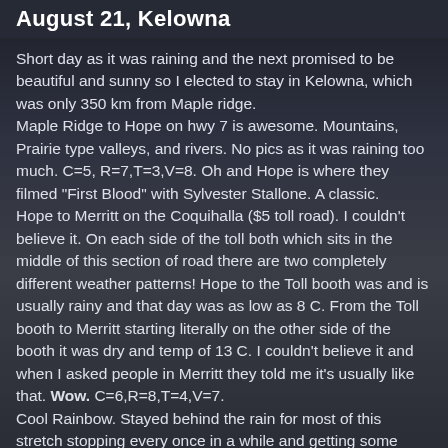August 21, Kelowna
Short day as it was raining and the next promised to be beautiful and sunny so I elected to stay in Kelowna, which was only 350 km from Maple ridge.
Maple Ridge to Hope on hwy 7 is awesome. Mountains, Prairie type valleys, and rivers. No pics as it was raining too much. C=5, R=7,T=3,V=8. Oh and Hope is where they filmed "First Blood" with Sylvester Stallone. A classic.
Hope to Merritt on the Coquihalla ($5 toll road). I couldn't believe it. On each side of the toll both which sits in the middle of this section of road there are two completely different weather patterns! Hope to the Toll booth was and is usually rainy and that day was as low as 8 C. From the Toll booth to Merritt starting literally on the other side of the booth it was dry and temp of 13 C. I couldn't believe it and when I asked people in Merritt they told me it's usually like that. Wow. C=6,R=8,T=4,V=7.
Cool Rainbow. Stayed behind the rain for most of this stretch stopping every once in a while and getting some good pics.